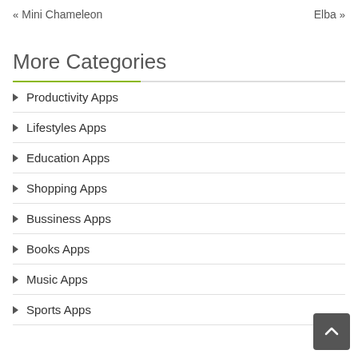« Mini Chameleon    Elba »
More Categories
Productivity Apps
Lifestyles Apps
Education Apps
Shopping Apps
Bussiness Apps
Books Apps
Music Apps
Sports Apps